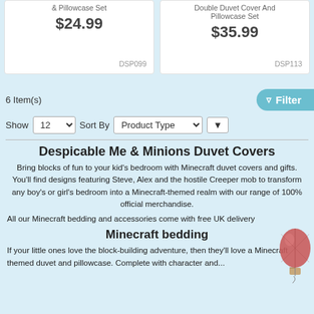& Pillowcase Set
$24.99
DSP099
Double Duvet Cover And Pillowcase Set
$35.99
DSP113
6 Item(s)
Show 12 Sort By Product Type ↓
Despicable Me & Minions Duvet Covers
Bring blocks of fun to your kid's bedroom with Minecraft duvet covers and gifts. You'll find designs featuring Steve, Alex and the hostile Creeper mob to transform any boy's or girl's bedroom into a Minecraft-themed realm with our range of 100% official merchandise.
All our Minecraft bedding and accessories come with free UK delivery
Minecraft bedding
If your little ones love the block-building adventure, then they'll love a Minecraft themed duvet and pillowcase. Complete with character and...